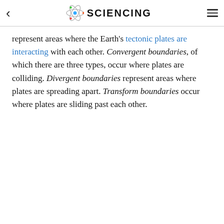SCIENCING
represent areas where the Earth's tectonic plates are interacting with each other. Convergent boundaries, of which there are three types, occur where plates are colliding. Divergent boundaries represent areas where plates are spreading apart. Transform boundaries occur where plates are sliding past each other.